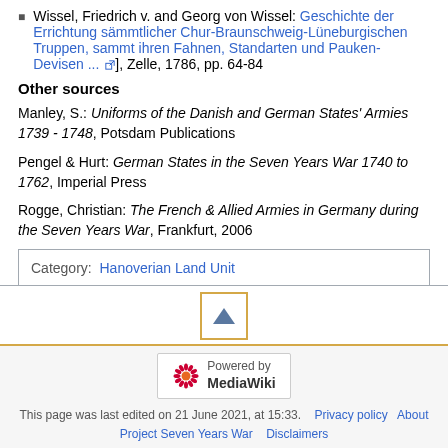Wissel, Friedrich v. and Georg von Wissel: Geschichte der Errichtung sämmtlicher Chur-Braunschweig-Lüneburgischen Truppen, sammt ihren Fahnen, Standarten und Pauken-Devisen ...], Zelle, 1786, pp. 64-84
Other sources
Manley, S.: Uniforms of the Danish and German States' Armies 1739 - 1748, Potsdam Publications
Pengel & Hurt: German States in the Seven Years War 1740 to 1762, Imperial Press
Rogge, Christian: The French & Allied Armies in Germany during the Seven Years War, Frankfurt, 2006
Category:  Hanoverian Land Unit
[Figure (other): Back to top button with upward-pointing triangle arrow]
[Figure (logo): Powered by MediaWiki badge/logo]
This page was last edited on 21 June 2021, at 15:33.   Privacy policy   About   Project Seven Years War   Disclaimers